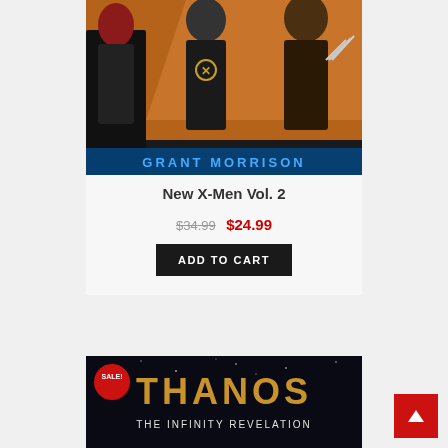[Figure (illustration): Comic book cover showing X-Men characters including Wolverine and other mutants in dark costumes with X logos, with GRANT MORRISON text visible at the bottom]
New X-Men Vol. 2
$34.99 $24.99
ADD TO CART
[Figure (illustration): Thanos: The Infinity Revelation comic book cover with dark space background. Shows THANOS in large gold letters and THE INFINITY REVELATION below. Has a red SALE! badge in the upper left.]